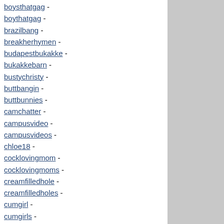boysthatgag -
boythatgag -
brazilbang -
breakherhymen -
budapestbukakke -
bukakkebarn -
bustychristy -
buttbangin -
buttbunnies -
camchatter -
campusvideo -
campusvideos -
chloe18 -
cocklovingmom -
cocklovingmoms -
creamfilledhole -
creamfilledholes -
cumgirl -
cumgirls -
cumshotblast -
cumslutparty -
danadirtydiary -
danasdirtydiary -
discreetshooter